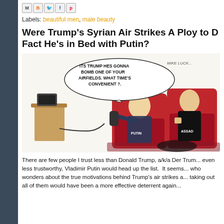[Figure (other): Social media sharing icons: Gmail (M), Blogger (B), Twitter (bird), Facebook (f), Pinterest (p)]
Labels: beautiful men, male beauty
Were Trump's Syrian Air Strikes A Ploy to D... Fact He's in Bed with Putin?
[Figure (illustration): Political cartoon by Mike Luckovich showing Putin on phone saying 'It's Trump he's gonna bomb one of your airfields. What time's convenient?' while sitting next to Assad in a red chair.]
There are few people I trust less than Donald Trump, a/k/a Der Trum... even less trustworthy, Vladimir Putin would head up the list. It seems... who wonders about the true motivations behind Trump's air strikes a... taking out all of them would have been a more effective deterrent again...